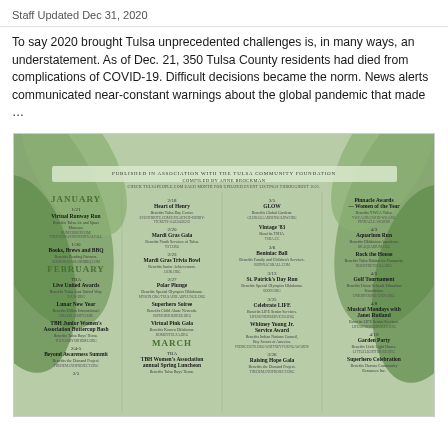Staff  Updated Dec 31, 2020
To say 2020 brought Tulsa unprecedented challenges is, in many ways, an understatement. As of Dec. 21, 350 Tulsa County residents had died from complications of COVID-19. Difficult decisions became the norm. News alerts communicated near-constant warnings about the global pandemic that made …
[Figure (infographic): Event calendar infographic with green leaf background. Published in association with the Tulsa Community Foundation. Compiled by Anne Brockman. Lists charity events for January, February, March and April 2021 in four columns with dates, event names, beneficiary organizations and URLs.]